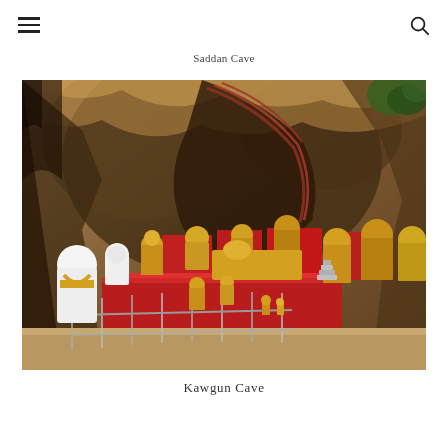[hamburger menu] [search icon]
Saddan Cave
[Figure (photo): Interior of Kawgun Cave in Myanmar showing numerous golden and white Buddha statues arranged on red platforms and plinths inside a dramatic natural cave. The cave walls are rocky limestone with colorful paintings and carved niches. Metal railings are visible in the foreground.]
Kawgun Cave